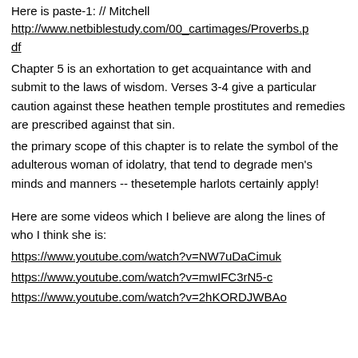Here is paste-1:  // Mitchell
http://www.netbiblestudy.com/00_cartimages/Proverbs.pdf
Chapter 5 is an exhortation to get acquaintance with and submit to the laws of wisdom. Verses 3-4 give a particular caution against these heathen temple prostitutes and remedies are prescribed against that sin.
the primary scope of this chapter is to relate the symbol of the adulterous woman of idolatry, that tend to degrade men's minds and manners -- thesetemple harlots certainly apply!
Here are some videos which I believe are along the lines of who I think she is:
https://www.youtube.com/watch?v=NW7uDaCimuk
https://www.youtube.com/watch?v=mwIFC3rN5-c
https://www.youtube.com/watch?v=2hKORDJWBAo